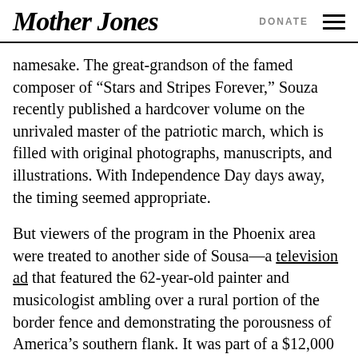Mother Jones  DONATE
namesake. The great-grandson of the famed composer of “Stars and Stripes Forever,” Souza recently published a hardcover volume on the unrivaled master of the patriotic march, which is filled with original photographs, manuscripts, and illustrations. With Independence Day days away, the timing seemed appropriate.
But viewers of the program in the Phoenix area were treated to another side of Sousa—a television ad that featured the 62-year-old painter and musicologist ambling over a rural portion of the border fence and demonstrating the porousness of America’s southern flank. It was part of a $12,000 ad buy bankrolled by Americans for Sheriff Joe, the